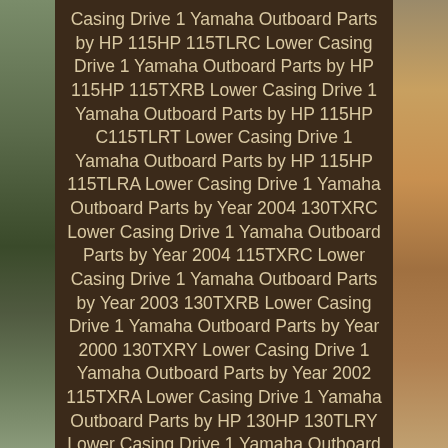[Figure (photo): Composite image: outdoor photo strips on left and right sides with a dark brown center panel containing cream/tan text listing Yamaha Outboard Parts references]
Casing Drive 1 Yamaha Outboard Parts by HP 115HP 115TLRC Lower Casing Drive 1 Yamaha Outboard Parts by HP 115HP 115TXRB Lower Casing Drive 1 Yamaha Outboard Parts by HP 115HP C115TLRT Lower Casing Drive 1 Yamaha Outboard Parts by HP 115HP 115TLRA Lower Casing Drive 1 Yamaha Outboard Parts by Year 2004 130TXRC Lower Casing Drive 1 Yamaha Outboard Parts by Year 2004 115TXRC Lower Casing Drive 1 Yamaha Outboard Parts by Year 2003 130TXRB Lower Casing Drive 1 Yamaha Outboard Parts by Year 2000 130TXRY Lower Casing Drive 1 Yamaha Outboard Parts by Year 2002 115TXRA Lower Casing Drive 1 Yamaha Outboard Parts by HP 130HP 130TLRY Lower Casing Drive 1 Yamaha Outboard Parts by Year 1994 C115TLRS Lower Casing Drive 1 Yamaha Outboard Parts by Year 1995 C115TLRT Lower Casing Drive 1 Yamaha Outboard Parts by